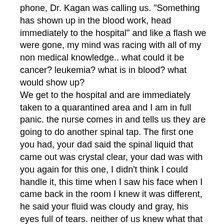phone, Dr. Kagan was calling us. "Something has shown up in the blood work, head immediately to the hospital" and like a flash we were gone, my mind was racing with all of my non medical knowledge.. what could it be cancer? leukemia? what is in blood? what would show up?
We get to the hospital and are immediately taken to a quarantined area and I am in full panic. the nurse comes in and tells us they are going to do another spinal tap. The first one you had, your dad said the spinal liquid that came out was crystal clear, your dad was with you again for this one, I didn't think I could handle it, this time when I saw his face when I came back in the room I knew it was different, he said your fluid was cloudy and gray, his eyes full of tears. neither of us knew what that meant yet but we knew it couldn't be good. A nurse came in to comfort us and said the doctor would be in shortly with the results and asked if she could pray for us. She told us she was a Christian but understood if we didn't want her to, I told her we were Christians also and thanked her. after what seemed like an eternity the doctor came in, she seemed very scared to tell us what she was going to say, she struggled for words and to steady her voice I grabbed the bed I was sitting on trying to brace myself for the bad news I know was coming. You my sweet girl were in